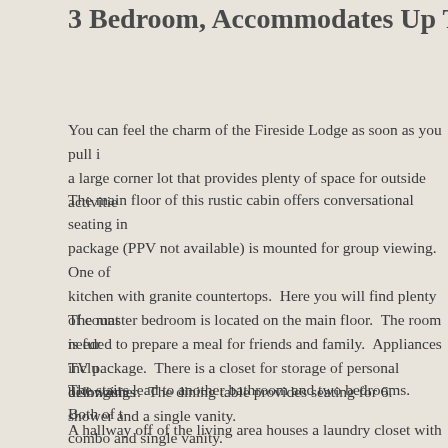3 Bedroom, Accommodates Up To 7 Guests-Pet
You can feel the charm of the Fireside Lodge as soon as you pull i a large corner lot that provides plenty of space for outside activitie
The main floor of this rustic cabin offers conversational seating in package (PPV not available) is mounted for group viewing. One of kitchen with granite countertops. Here you will find plenty of count needed to prepare a meal for friends and family. Appliances inclu dishwasher. The dining table provides seating for 6.
The master bedroom is located on the main floor. The room is fur TV package. There is a closet for storage of personal belongings shower and a single vanity.
The stairs lead to another bathroom and two bedrooms. Both of t combo and single vanity.
A hallway off of the living area houses a laundry closet with full size the hot tub alcove with privacy fencing. The deck area has a varie